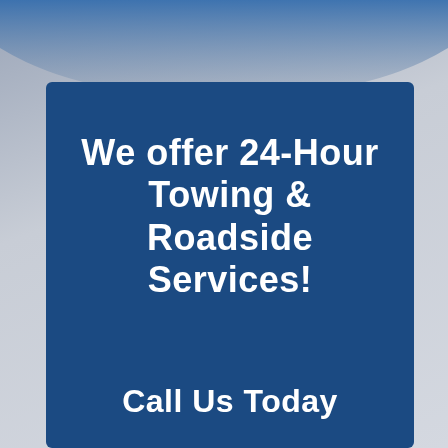[Figure (illustration): Dark blue card with repeating wheel/tire pattern background, containing centered white bold text advertisement for 24-hour towing and roadside services, with decorative blue arc/sweep at the top of the page on a gray gradient background.]
We offer 24-Hour Towing & Roadside Services!
Call Us Today